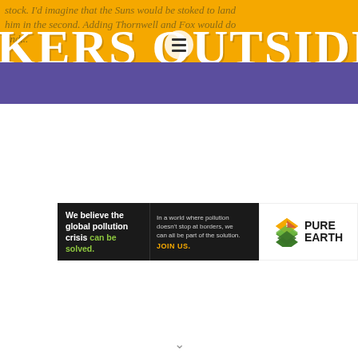[Figure (illustration): Website header banner for a Lakers blog called 'KERS OUTSIDE' (Lakers Outside). Gold/yellow background with purple city skyline silhouette. Large white bold text reads 'KERS OUTSIDE'. Small italicized body text at top reads 'stock. I'd imagine that the Suns would be stoked to land him in the second. Adding Thornwell and Fox would do and...' A circular menu icon with three horizontal bars overlays the center of the banner.]
[Figure (infographic): Advertisement banner for Pure Earth. Left dark section reads 'We believe the global pollution crisis can be solved.' with 'can be solved.' in green. Middle dark section reads 'In a world where pollution doesn't stop at borders, we can all be part of the solution.' followed by 'JOIN US.' in gold/yellow. Right white section shows the Pure Earth logo: a diamond/chevron shape in gold and green with text PURE EARTH.]